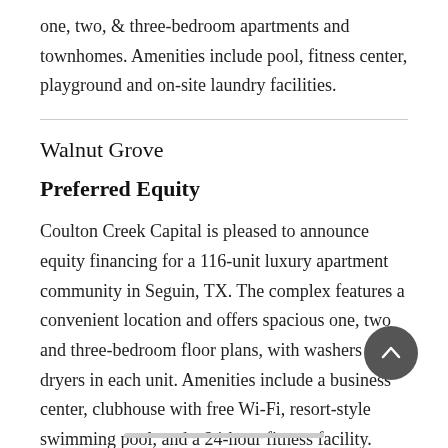one, two, & three-bedroom apartments and townhomes. Amenities include pool, fitness center, playground and on-site laundry facilities.
Walnut Grove
Preferred Equity
Coulton Creek Capital is pleased to announce equity financing for a 116-unit luxury apartment community in Seguin, TX. The complex features a convenient location and offers spacious one, two and three-bedroom floor plans, with washers and dryers in each unit. Amenities include a business center, clubhouse with free Wi-Fi, resort-style swimming pool, and a 24-hour fitness facility.